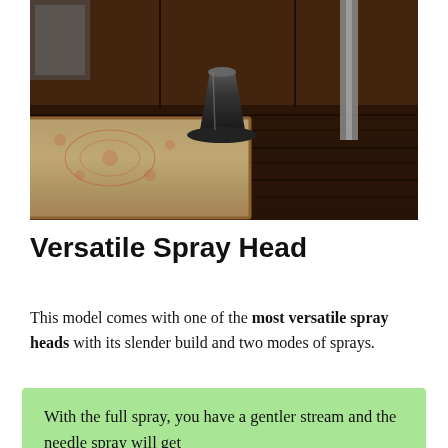[Figure (photo): Interior room photo showing a dark wooden floor, a patterned area rug with floral design, dark wood furniture/cabinets in the background, and what appears to be a modern black spray head fixture on a pedestal base with metallic accents.]
Versatile Spray Head
This model comes with one of the most versatile spray heads with its slender build and two modes of sprays.
With the full spray, you have a gentler stream and the needle spray will get